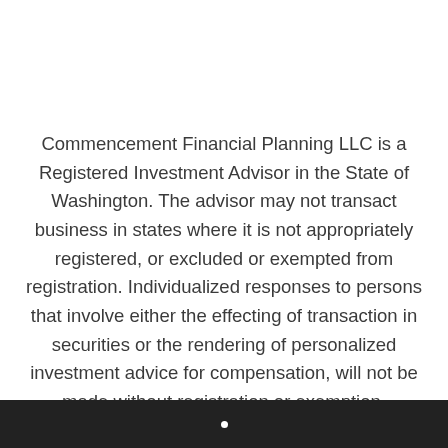Commencement Financial Planning LLC is a Registered Investment Advisor in the State of Washington. The advisor may not transact business in states where it is not appropriately registered, or excluded or exempted from registration. Individualized responses to persons that involve either the effecting of transaction in securities or the rendering of personalized investment advice for compensation, will not be made without registration or exemption.